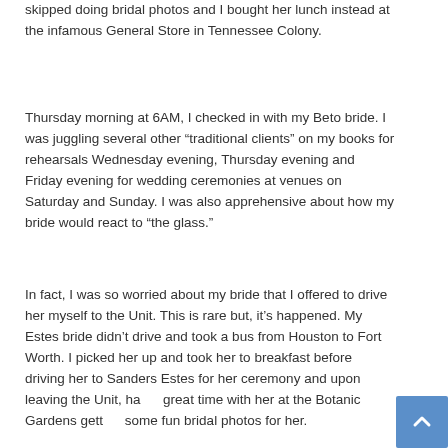skipped doing bridal photos and I bought her lunch instead at the infamous General Store in Tennessee Colony.
Thursday morning at 6AM, I checked in with my Beto bride. I was juggling several other "traditional clients" on my books for rehearsals Wednesday evening, Thursday evening and Friday evening for wedding ceremonies at venues on Saturday and Sunday. I was also apprehensive about how my bride would react to "the glass."
In fact, I was so worried about my bride that I offered to drive her myself to the Unit. This is rare but, it's happened. My Estes bride didn't drive and took a bus from Houston to Fort Worth. I picked her up and took her to breakfast before driving her to Sanders Estes for her ceremony and upon leaving the Unit, had a great time with her at the Botanic Gardens getting some fun bridal photos for her.